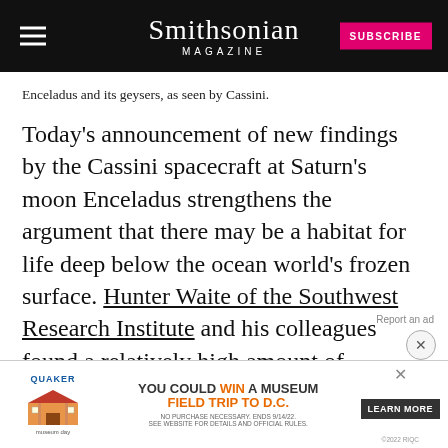Smithsonian Magazine
Enceladus and its geysers, as seen by Cassini.
Today’s announcement of new findings by the Cassini spacecraft at Saturn’s moon Enceladus strengthens the argument that there may be a habitat for life deep below the ocean world’s frozen surface. Hunter Waite of the Southwest Research Institute and his colleagues found a relatively high amount of molecular hydrogen in the v[ent plumes, which thro]ks in the id[en] r many chemical pathways, including biological
[Figure (other): Quaker Museum Day advertisement banner: YOU COULD WIN A MUSEUM FIELD TRIP TO D.C. LEARN MORE]